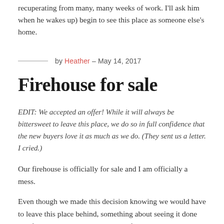recuperating from many, many weeks of work. I'll ask him when he wakes up) begin to see this place as someone else's home.
by Heather – May 14, 2017
Firehouse for sale
EDIT: We accepted an offer! While it will always be bittersweet to leave this place, we do so in full confidence that the new buyers love it as much as we do. (They sent us a letter. I cried.)
Our firehouse is officially for sale and I am officially a mess.
Even though we made this decision knowing we would have to leave this place behind, something about seeing it done and for sale has me in a glass case of emotion.